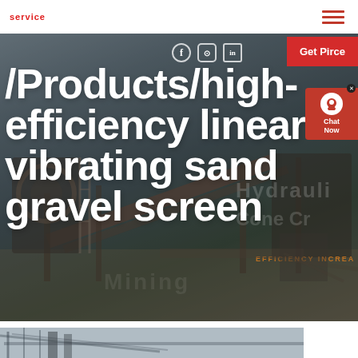service
[Figure (photo): Industrial mining/crushing plant machinery with conveyor belts and equipment in an outdoor setting, used as hero banner background]
/Products/high-efficiency linear vibrating sand gravel screen
Get Pirce
Chat Now
[Figure (photo): Partial view of industrial machinery structure, bottom of page]